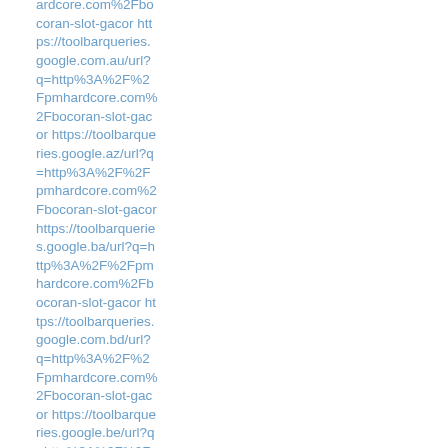ardcore.com%2Fbocoran-slot-gacor https://toolbarqueries.google.com.au/url?q=http%3A%2F%2Fpmhardcore.com%2Fbocoran-slot-gacor https://toolbarqueries.google.az/url?q=http%3A%2F%2Fpmhardcore.com%2Fbocoran-slot-gacor https://toolbarqueries.google.ba/url?q=http%3A%2F%2Fpmhardcore.com%2Fbocoran-slot-gacor https://toolbarqueries.google.com.bd/url?q=http%3A%2F%2Fpmhardcore.com%2Fbocoran-slot-gacor https://toolbarqueries.google.be/url?q=http%3A%2F%2Fpmhardcore.com%2Fbocoran-slot-gacor https://toolbarqueries.google.bg/url?q=http%3A%2F%2Fpm